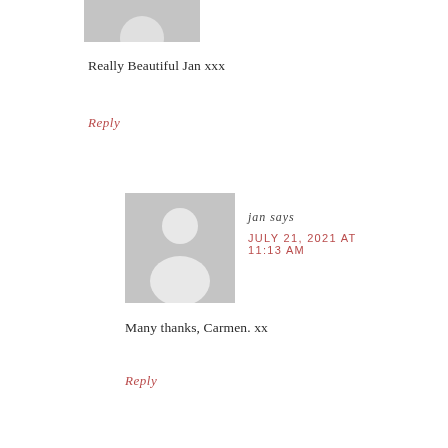[Figure (photo): Partial avatar image (top portion of a grey silhouette user avatar) cropped at top of page]
Really Beautiful Jan xxx
Reply
[Figure (photo): Grey default user avatar silhouette (head and shoulders)]
jan says
JULY 21, 2021 AT 11:13 AM
Many thanks, Carmen. xx
Reply